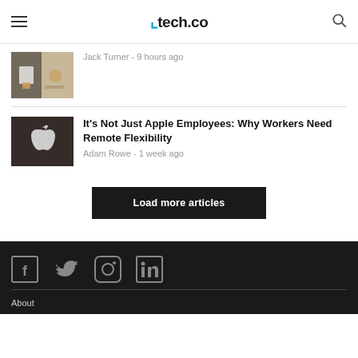tech.co
[Figure (photo): Thumbnail image of a person working at a desk with a laptop and coffee cup]
Jack Turner - 9 hours ago
[Figure (photo): Thumbnail image of Apple logo on a wooden surface]
It’s Not Just Apple Employees: Why Workers Need Remote Flexibility
Adam Rowe - 1 week ago
Load more articles
Social icons: Facebook, Twitter, Instagram, LinkedIn